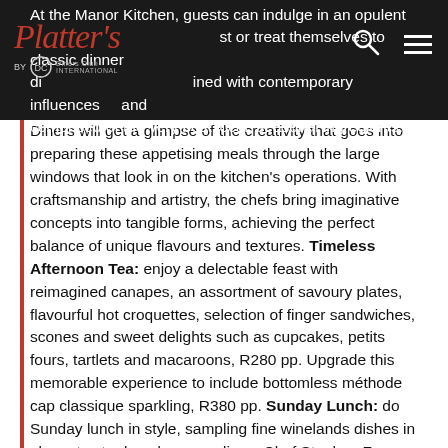At the Manor Kitchen, guests can indulge in an opulent breakfast or treat themselves to classic dinner dishes reimagined with contemporary influences and comprised of the very best local, seasonal ingredients.
Diners will get a glimpse of the creativity that goes into preparing these appetising meals through the large windows that look in on the kitchen's operations. With craftsmanship and artistry, the chefs bring imaginative concepts into tangible forms, achieving the perfect balance of unique flavours and textures. Timeless Afternoon Tea: enjoy a delectable feast with reimagined canapes, an assortment of savoury plates, flavourful hot croquettes, selection of finger sandwiches, scones and sweet delights such as cupcakes, petits fours, tartlets and macaroons, R280 pp. Upgrade this memorable experience to include bottomless méthode cap classique sparkling, R380 pp. Sunday Lunch: do Sunday lunch in style, sampling fine winelands dishes in elegant yet relaxed surroundings. Chef Stephen Fraser has made his name in traditional gourmet food but knows how to pull out all the stops when it comes to delivering a proper Sunday feast. See also Lanzerac – Hotel on the Accommodation in the Winelands & Cape Town page.